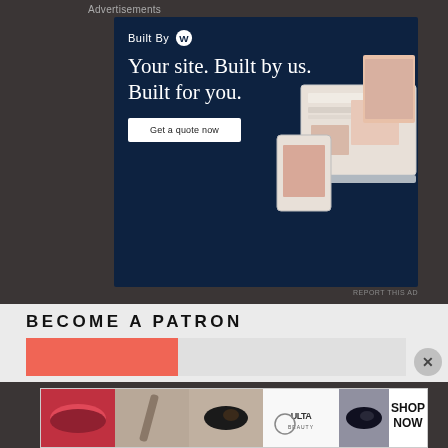Advertisements
[Figure (illustration): WordPress 'Built By' advertisement banner with dark navy background. Shows 'Built By' with WordPress logo, headline 'Your site. Built by us. Built for you.' and a 'Get a quote now' button, with mockup website screenshots on the right side.]
REPORT THIS AD
BECOME A PATRON
[Figure (infographic): Red/salmon colored progress bar showing approximately 40% fill on a light gray background, representing patron funding progress.]
[Figure (illustration): ULTA Beauty advertisement banner showing makeup/beauty close-up photos (lips with red lipstick, makeup brush, eye with mascara, ULTA Beauty logo, eye with dark makeup, and another beauty shot) with 'SHOP NOW' text on the right.]
REPORT THIS AD